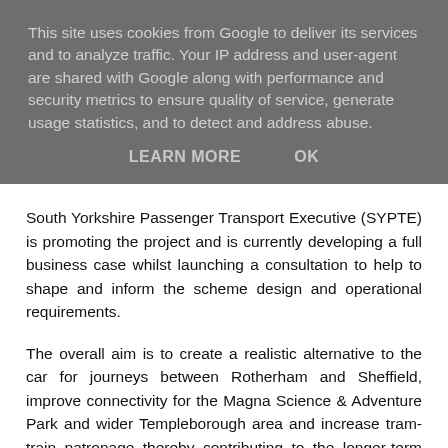This site uses cookies from Google to deliver its services and to analyze traffic. Your IP address and user-agent are shared with Google along with performance and security metrics to ensure quality of service, generate usage statistics, and to detect and address abuse.
LEARN MORE    OK
South Yorkshire Passenger Transport Executive (SYPTE) is promoting the project and is currently developing a full business case whilst launching a consultation to help to shape and inform the scheme design and operational requirements.
The overall aim is to create a realistic alternative to the car for journeys between Rotherham and Sheffield, improve connectivity for the Magna Science & Adventure Park and wider Templeborough area and increase tram-train patronage thereby contributing to the longer-term viability of the Supertram service.
The proposed scheme will link to Rotherham Council's